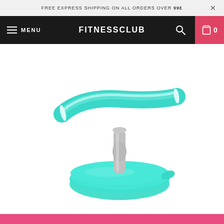FREE EXPRESS SHIPPING ON ALL ORDERS OVER 99£  ×
≡ MENU   FITNESSCLUB   🔍   🛍 0
[Figure (photo): A teal/turquoise ab wheel or sit-up assist fitness device with a curved padded handlebar on top, a grey central stem/column, and a round teal suction base, photographed on a white background.]